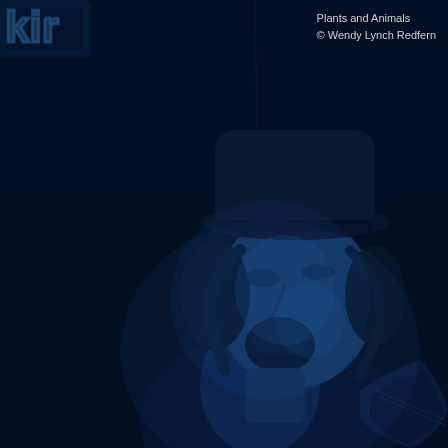[Figure (photo): Concert photograph taken in blue lighting of a male singer wearing a black bowler hat, singing with mouth wide open into a microphone on a stand. He is playing guitar (visible at bottom right). The background is very dark with a blue neon sign partially visible in the top left corner. The entire image has a strong blue color cast.]
Plants and Animals
© Wendy Lynch Redfern